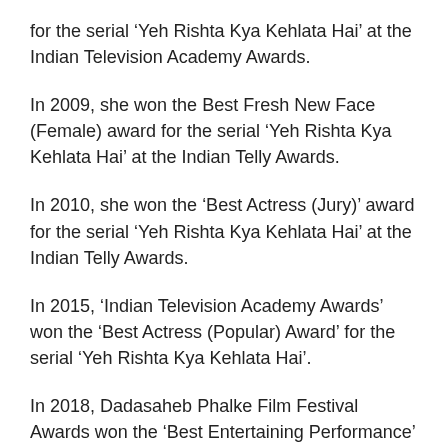for the serial ‘Yeh Rishta Kya Kehlata Hai’ at the Indian Television Academy Awards.
In 2009, she won the Best Fresh New Face (Female) award for the serial ‘Yeh Rishta Kya Kehlata Hai’ at the Indian Telly Awards.
In 2010, she won the ‘Best Actress (Jury)’ award for the serial ‘Yeh Rishta Kya Kehlata Hai’ at the Indian Telly Awards.
In 2015, ‘Indian Television Academy Awards’ won the ‘Best Actress (Popular) Award’ for the serial ‘Yeh Rishta Kya Kehlata Hai’.
In 2018, Dadasaheb Phalke Film Festival Awards won the ‘Best Entertaining Performance’ award for